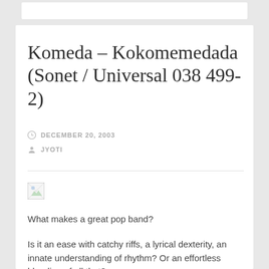Komeda – Kokomemedada (Sonet / Universal 038 499-2)
DECEMBER 20, 2003
JYOTI
[Figure (photo): Broken/missing image placeholder icon]
What makes a great pop band?
Is it an ease with catchy riffs, a lyrical dexterity, an innate understanding of rhythm? Or an effortless blending of all that?